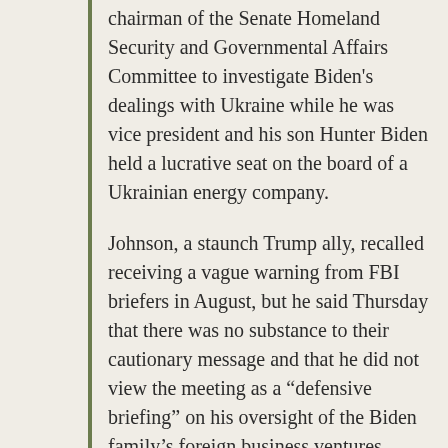chairman of the Senate Homeland Security and Governmental Affairs Committee to investigate Biden's dealings with Ukraine while he was vice president and his son Hunter Biden held a lucrative seat on the board of a Ukrainian energy company.
Johnson, a staunch Trump ally, recalled receiving a vague warning from FBI briefers in August, but he said Thursday that there was no substance to their cautionary message and that he did not view the meeting as a “defensive briefing” on his oversight of the Biden family’s foreign business ventures.
“Regarding reports that I received an